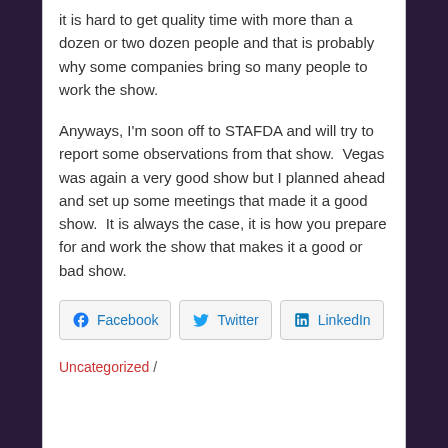it is hard to get quality time with more than a dozen or two dozen people and that is probably why some companies bring so many people to work the show.

Anyways, I'm soon off to STAFDA and will try to report some observations from that show.  Vegas was again a very good show but I planned ahead and set up some meetings that made it a good show.  It is always the case, it is how you prepare for and work the show that makes it a good or bad show.
[Figure (other): Social sharing buttons: Facebook, Twitter, LinkedIn]
Uncategorized /